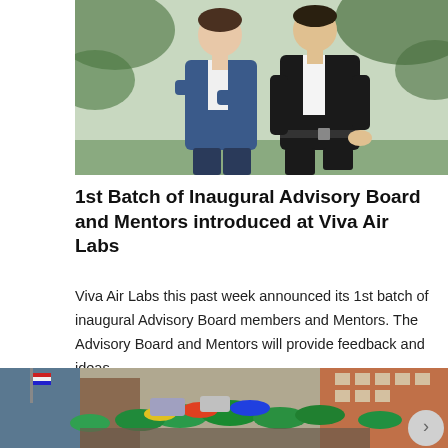[Figure (photo): Two men in business attire (one in blue suit, one in black suit) standing outdoors in front of palm trees]
1st Batch of Inaugural Advisory Board and Mentors introduced at Viva Air Labs
Viva Air Labs this past week announced its 1st batch of inaugural Advisory Board members and Mentors. The Advisory Board and Mentors will provide feedback and ideas…
[Figure (photo): Busy outdoor market street scene with crowds of people, colorful umbrellas, flags, cars, and buildings]